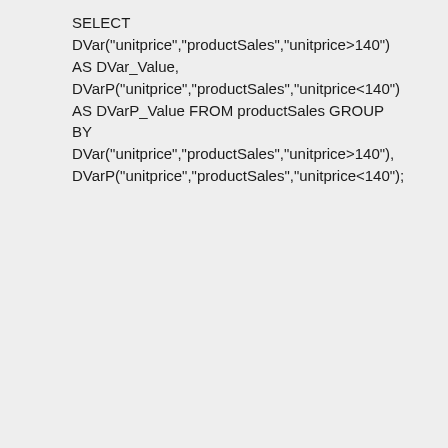SELECT DVar("unitprice","productSales","unitprice>140") AS DVar_Value, DVarP("unitprice","productSales","unitprice<140") AS DVarP_Value FROM productSales GROUP BY DVar("unitprice","productSales","unitprice>140"), DVarP("unitprice","productSales","unitprice<140");
Calculates the Variance of "UnitPrice" from the table "ProductSales" where "unitprice" is greater than 140 and displays the result in DVar_Value. Also calculates the Variance of "UnitPrice" (considering the given data as entire population) where "unitprice" is less than 140 and displays